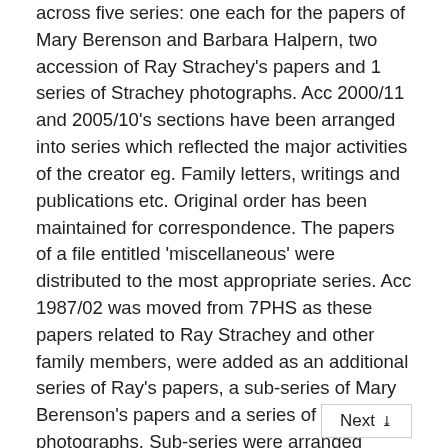across five series: one each for the papers of Mary Berenson and Barbara Halpern, two accession of Ray Strachey's papers and 1 series of Strachey photographs. Acc 2000/11 and 2005/10's sections have been arranged into series which reflected the major activities of the creator eg. Family letters, writings and publications etc. Original order has been maintained for correspondence. The papers of a file entitled 'miscellaneous' were distributed to the most appropriate series. Acc 1987/02 was moved from 7PHS as these papers related to Ray Strachey and other family members, were added as an additional series of Ray's papers, a sub-series of Mary Berenson's papers and a series of photographs. Sub-series were arranged according to the major activities of the creator but original files have remained intact.
Next »